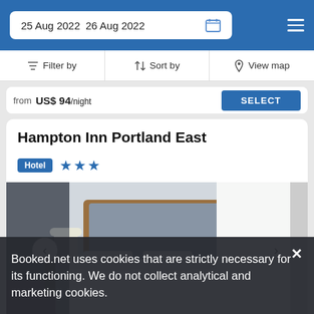25 Aug 2022  26 Aug 2022
Filter by  Sort by  View map
from US$ 94/night  SELECT
Hampton Inn Portland East
Hotel ★★★
[Figure (photo): Hotel room interior showing a king bed with white bedding, wooden headboard with gray upholstered panel, two lamps, patterned curtains, and window with sheer white curtains]
Booked.net uses cookies that are strictly necessary for its functioning. We do not collect analytical and marketing cookies.